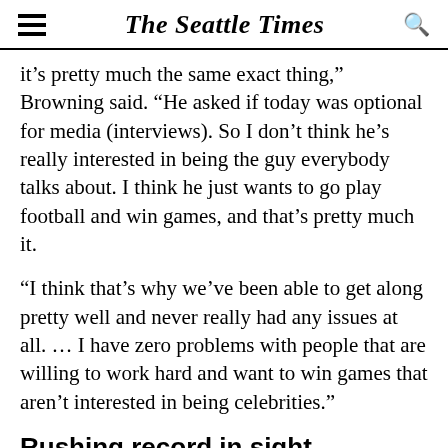The Seattle Times
it’s pretty much the same exact thing,” Browning said. “He asked if today was optional for media (interviews). So I don’t think he’s really interested in being the guy everybody talks about. I think he just wants to go play football and win games, and that’s pretty much it.
“I think that’s why we’ve been able to get along pretty well and never really had any issues at all. … I have zero problems with people that are willing to work hard and want to win games that aren’t interested in being celebrities.”
Rushing record in sight
Gaskin’s chase of Kaufman’s rushing record will be a